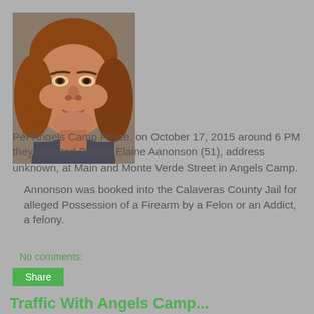[Figure (photo): Mugshot of a woman with long reddish-brown hair, wearing a dark top, facing the camera against a plain background.]
Per Angels Camp Police, on October 17, 2015 around 6 PM they arrested Denise Elaine Aanonson (51), address unknown, at Main and Monte Verde Street in Angels Camp.
Annonson was booked into the Calaveras County Jail for alleged Possession of a Firearm by a Felon or an Addict, a felony.
No comments:
Share
Traffic With Angels Camp...